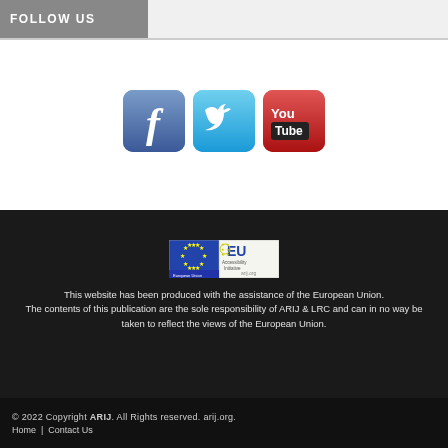FOLLOW US
[Figure (illustration): Three social media icons: Facebook (blue rounded square with 'f'), Twitter (light blue rounded square with bird), YouTube (red rounded square with 'You Tube' text)]
[Figure (logo): EU logo (European Union flag with stars) and EU branding logo side by side]
This website has been produced with the assistance of the European Union. The contents of this publication are the sole responsibility of ARIJ & LRC and can in no way be taken to reflect the views of the European Union.
© 2022 Copyright ARIJ. All Rights reserved. arij.org.
Home | Contact Us